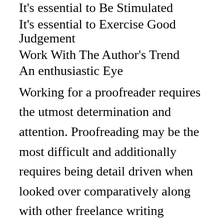It's essential to Be Stimulated
It's essential to Exercise Good Judgement
Work With The Author's Trend
An enthusiastic Eye
Working for a proofreader requires the utmost determination and attention. Proofreading may be the most difficult and additionally requires being detail driven when looked over comparatively along with other freelance writing careers. When you are proofreading you must find every single possibilities flaw in addition to read every line some times